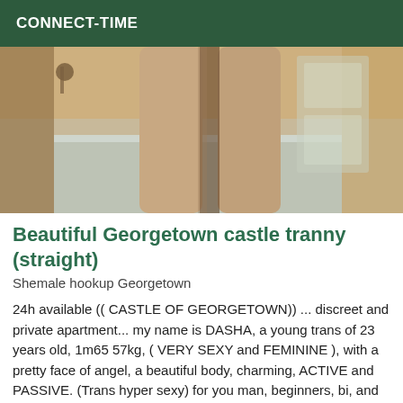CONNECT-TIME
[Figure (photo): Close-up photo of legs in tight beige/tan leggings against a light-colored interior background with wood paneling.]
Beautiful Georgetown castle tranny (straight)
Shemale hookup Georgetown
24h available (( CASTLE OF GEORGETOWN)) ... discreet and private apartment... my name is DASHA, a young trans of 23 years old, 1m65 57kg, ( VERY SEXY and FEMININE ), with a pretty face of angel, a beautiful body, charming, ACTIVE and PASSIVE. (Trans hyper sexy) for you man, beginners, bi, and straight curious.